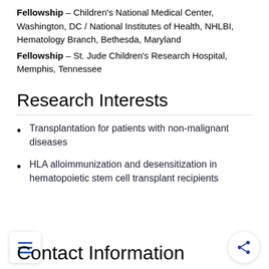Fellowship – Children's National Medical Center, Washington, DC / National Institutes of Health, NHLBI, Hematology Branch, Bethesda, Maryland
Fellowship – St. Jude Children's Research Hospital, Memphis, Tennessee
Research Interests
Transplantation for patients with non-malignant diseases
HLA alloimmunization and desensitization in hematopoietic stem cell transplant recipients
Contact Information